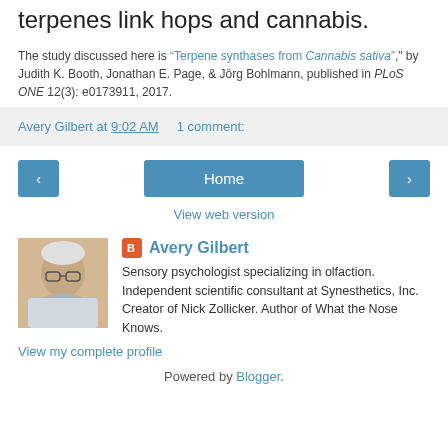terpenes link hops and cannabis.
The study discussed here is "Terpene synthases from Cannabis sativa," by Judith K. Booth, Jonathan E. Page, & Jörg Bohlmann, published in PLoS ONE 12(3): e0173911, 2017.
Avery Gilbert at 9:02 AM   1 comment:
< Home >
View web version
Avery Gilbert
Sensory psychologist specializing in olfaction. Independent scientific consultant at Synesthetics, Inc. Creator of Nick Zollicker. Author of What the Nose Knows.
View my complete profile
Powered by Blogger.